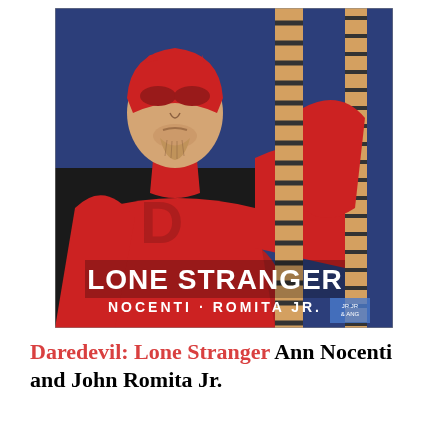[Figure (illustration): Comic book cover art showing Daredevil in a red costume, face unmasked revealing a stoic bearded face. He holds ropes/chains. Text overlay reads 'LONE STRANGER' in bold white letters and 'NOCENTI · ROMITA JR.' below in white smaller caps. Blue background.]
Daredevil: Lone Stranger Ann Nocenti and John Romita Jr.